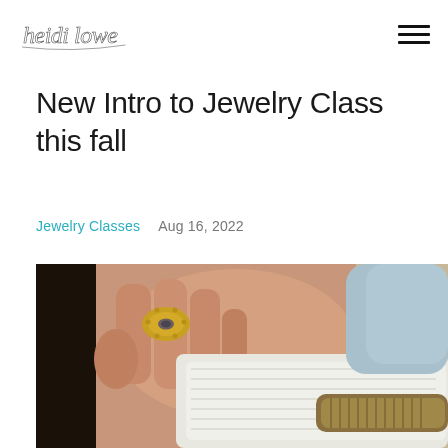heidi lowe [logo]
New Intro to Jewelry Class this fall
Jewelry Classes   Aug 16, 2022
[Figure (photo): Close-up of a person's hand wearing a gold oval ring with a dark gemstone, pressing down on a white towel wrapped around a metal rod or tool.]